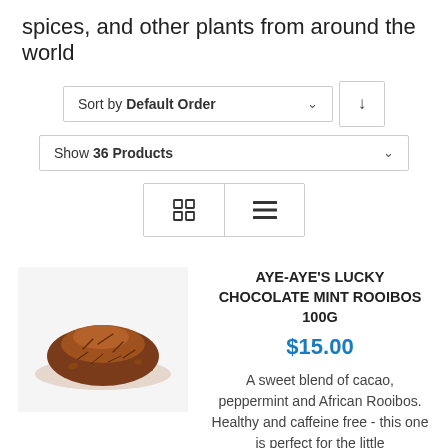spices, and other plants from around the world
Sort by Default Order
Show 36 Products
[Figure (screenshot): View toggle buttons: grid view and list view icons inside a bordered box]
[Figure (photo): A pile of rooibos tea on a white/light grey background]
AYE-AYE'S LUCKY CHOCOLATE MINT ROOIBOS 100g
$15.00
A sweet blend of cacao, peppermint and African Rooibos. Healthy and caffeine free - this one is perfect for the little